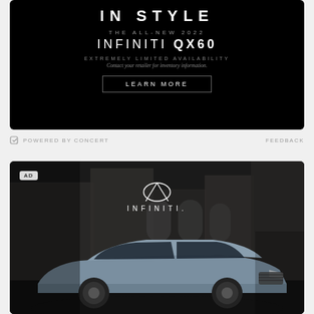[Figure (photo): Infiniti QX60 advertisement with black background. Text reads IN STYLE, THE ALL-NEW 2022 INFINITI QX60, EXTREMELY LIMITED AVAILABILITY, Contact your retailer for inventory information. LEARN MORE button with border.]
POWERED BY CONCERT
FEEDBACK
[Figure (photo): Second Infiniti advertisement showing the Infiniti logo and wordmark at the top, with a silver/blue Infiniti QX60 SUV photographed on a city street with buildings in the background. AD badge in top left corner.]